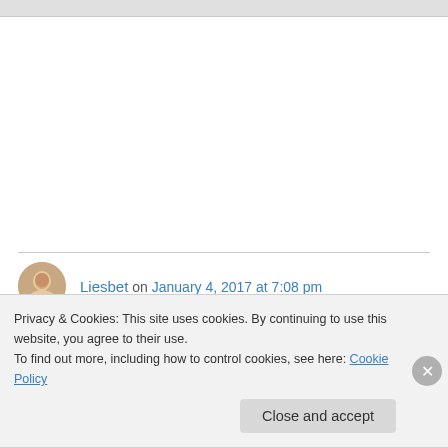Liesbet on January 4, 2017 at 7:08 pm
Sharks are such amazing creatures! Except when they grabbed hold of a tuna we just caught off our boat! I do love swimming with them – the nice kinds. 🙂
Privacy & Cookies: This site uses cookies. By continuing to use this website, you agree to their use.
To find out more, including how to control cookies, see here: Cookie Policy
Close and accept